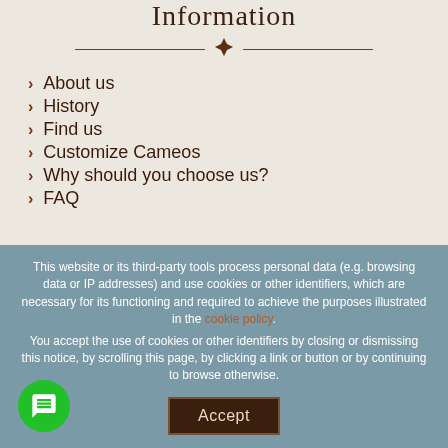Information
About us
History
Find us
Customize Cameos
Why should you choose us?
FAQ
This website or its third-party tools process personal data (e.g. browsing data or IP addresses) and use cookies or other identifiers, which are necessary for its functioning and required to achieve the purposes illustrated in the cookie policy. You accept the use of cookies or other identifiers by closing or dismissing this notice, by scrolling this page, by clicking a link or button or by continuing to browse otherwise.
Accept